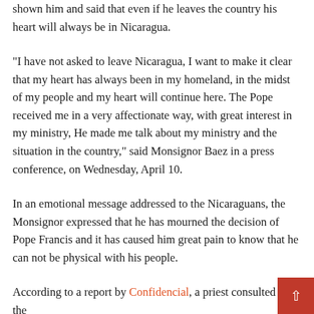shown him and said that even if he leaves the country his heart will always be in Nicaragua.
“I have not asked to leave Nicaragua, I want to make it clear that my heart has always been in my homeland, in the midst of my people and my heart will continue here. The Pope received me in a very affectionate way, with great interest in my ministry, He made me talk about my ministry and the situation in the country,” said Monsignor Baez in a press conference, on Wednesday, April 10.
In an emotional message addressed to the Nicaraguans, the Monsignor expressed that he has mourned the decision of Pope Francis and it has caused him great pain to know that he can not be physical with his people.
According to a report by Confidencial, a priest consulted by the